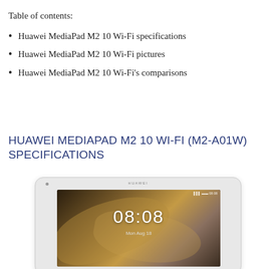Table of contents:
Huawei MediaPad M2 10 Wi-Fi specifications
Huawei MediaPad M2 10 Wi-Fi pictures
Huawei MediaPad M2 10 Wi-Fi's comparisons
HUAWEI MEDIAPAD M2 10 WI-FI (M2-A01W) SPECIFICATIONS
[Figure (photo): Photo of Huawei MediaPad M2 10 Wi-Fi tablet showing front face with lock screen displaying time 08:08 and date Mon Aug 18, with decorative wave wallpaper]